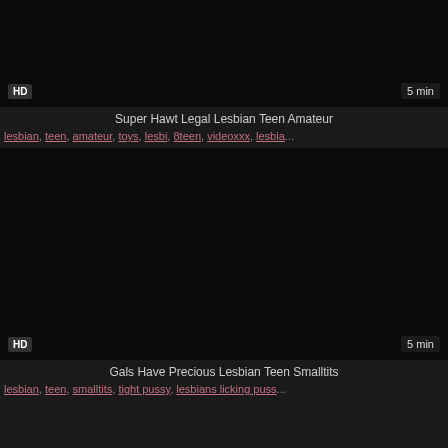[Figure (photo): Dark video thumbnail with HD badge bottom-left and 5 min badge bottom-right]
Super Hawt Legal Lesbian Teen Amateur
lesbian, teen, amateur, toys, lesbi, 8teen, videoxxx, lesbia...
[Figure (photo): Dark video thumbnail with HD badge bottom-left and 5 min badge bottom-right]
Gals Have Precious Lesbian Teen Smalltits
lesbian, teen, smalltits, tight pussy, lesbians licking puss...